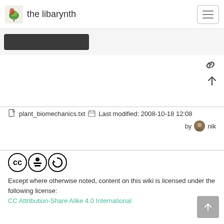the libarynth
[Figure (screenshot): Dark toolbar button area below header]
plant_biomechanics.txt  Last modified: 2008-10-18 12:08 by nik
[Figure (logo): Creative Commons CC BY-SA license icons]
Except where otherwise noted, content on this wiki is licensed under the following license:
CC Attribution-Share Alike 4.0 International